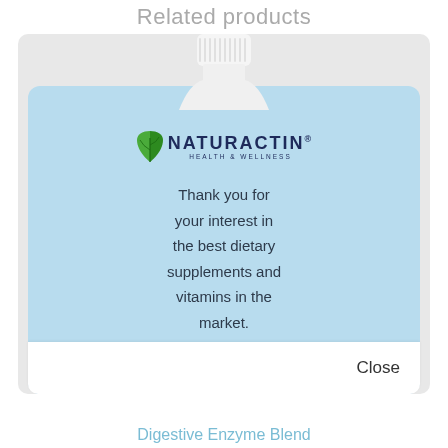Related products
[Figure (screenshot): A pop-up modal overlay showing the Naturactin Health & Wellness brand logo with a leaf icon, displayed on a light blue background over a supplement bottle product card. The modal contains the message 'Thank you for your interest in the best dietary supplements and vitamins in the market.' with a Close button at the bottom.]
Thank you for your interest in the best dietary supplements and vitamins in the market.
Close
Digestive Enzyme Blend